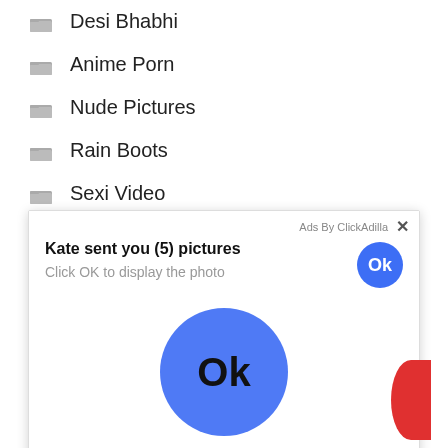Desi Bhabhi
Anime Porn
Nude Pictures
Rain Boots
Sexi Video
[Figure (screenshot): Ad overlay from ClickAdilla showing 'Kate sent you (5) pictures. Click OK to display the photo' with two Ok buttons (one small blue circle top-right, one large blue circle center) and a partial red circle on the right edge.]